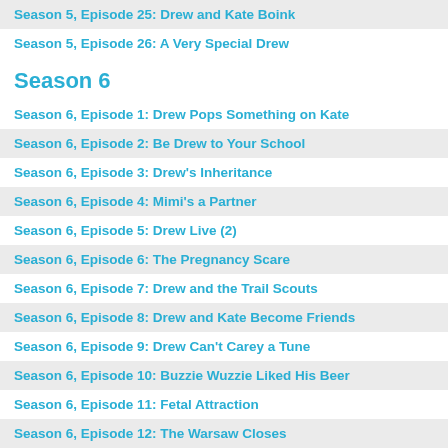Season 5, Episode 25: Drew and Kate Boink
Season 5, Episode 26: A Very Special Drew
Season 6
Season 6, Episode 1: Drew Pops Something on Kate
Season 6, Episode 2: Be Drew to Your School
Season 6, Episode 3: Drew's Inheritance
Season 6, Episode 4: Mimi's a Partner
Season 6, Episode 5: Drew Live (2)
Season 6, Episode 6: The Pregnancy Scare
Season 6, Episode 7: Drew and the Trail Scouts
Season 6, Episode 8: Drew and Kate Become Friends
Season 6, Episode 9: Drew Can't Carey a Tune
Season 6, Episode 10: Buzzie Wuzzie Liked His Beer
Season 6, Episode 11: Fetal Attraction
Season 6, Episode 12: The Warsaw Closes
Season 6, Episode 13: Oswald's Dad Returns